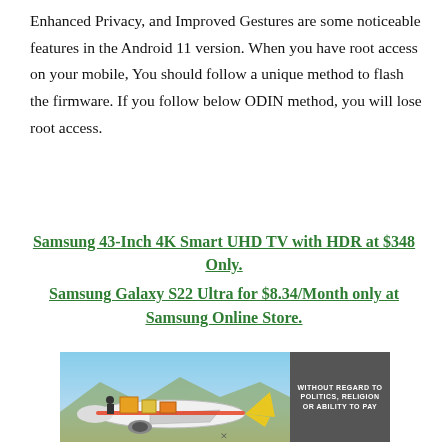Enhanced Privacy, and Improved Gestures are some noticeable features in the Android 11 version. When you have root access on your mobile, You should follow a unique method to flash the firmware. If you follow below ODIN method, you will lose root access.
Samsung 43-Inch 4K Smart UHD TV with HDR at $348 Only.
Samsung Galaxy S22 Ultra for $8.34/Month only at Samsung Online Store.
[Figure (photo): Advertisement banner showing a cargo plane being loaded with packages, with text 'WITHOUT REGARD TO POLITICS, RELIGION OR ABILITY TO PAY' on the right side.]
×